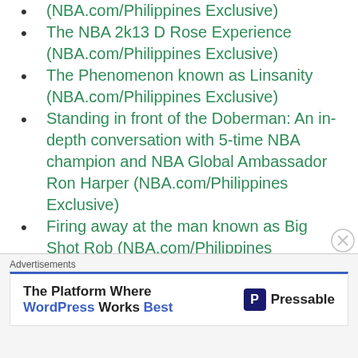(NBA.com/Philippines Exclusive)
The NBA 2k13 D Rose Experience (NBA.com/Philippines Exclusive)
The Phenomenon known as Linsanity (NBA.com/Philippines Exclusive)
Standing in front of the Doberman: An in-depth conversation with 5-time NBA champion and NBA Global Ambassador Ron Harper (NBA.com/Philippines Exclusive)
Firing away at the man known as Big Shot Rob (NBA.com/Philippines Exclusive)
Togetherness: Learning more about Indiana Pacers Basketball from head
Advertisements
The Platform Where WordPress Works Best — Pressable